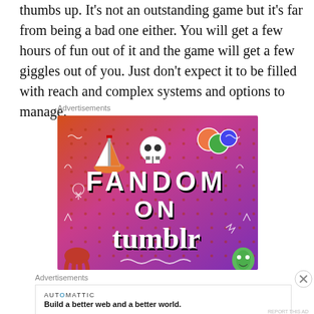thumbs up. It's not an outstanding game but it's far from being a bad one either. You will get a few hours of fun out of it and the game will get a few giggles out of you. Just don't expect it to be filled with reach and complex systems and options to manage.
Advertisements
[Figure (illustration): Colorful Fandom on Tumblr advertisement banner with cartoon stickers, sailboat, skull, dice, and playful doodles on a gradient orange-to-purple background. Text reads FANDOM ON tumblr.]
Advertisements
[Figure (other): Automattic advertisement: logo text 'AUTOMATTIC' with blue O, tagline 'Build a better web and a better world.']